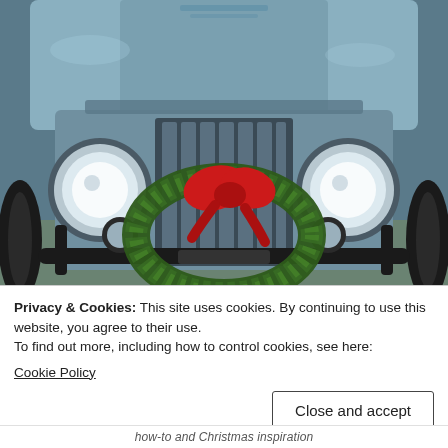[Figure (photo): Front view of a classic blue/grey Jeep CJ with large round headlights, a chrome grille, black front bumper, off-road tires, and a green Christmas wreath with a large red bow attached to the front bumper. Background shows outdoor field.]
Privacy & Cookies: This site uses cookies. By continuing to use this website, you agree to their use.
To find out more, including how to control cookies, see here:
Cookie Policy
Close and accept
how-to and Christmas inspiration